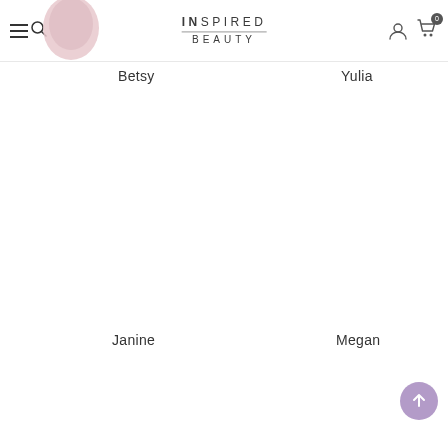INSPIRED BEAUTY
Betsy
Yulia
Janine
Megan